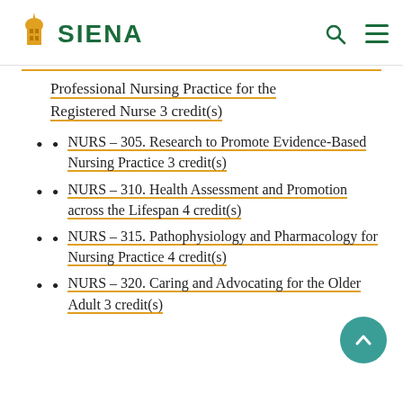SIENA
Professional Nursing Practice for the Registered Nurse 3 credit(s)
NURS - 305. Research to Promote Evidence-Based Nursing Practice 3 credit(s)
NURS - 310. Health Assessment and Promotion across the Lifespan 4 credit(s)
NURS - 315. Pathophysiology and Pharmacology for Nursing Practice 4 credit(s)
NURS - 320. Caring and Advocating for the Older Adult 3 credit(s)